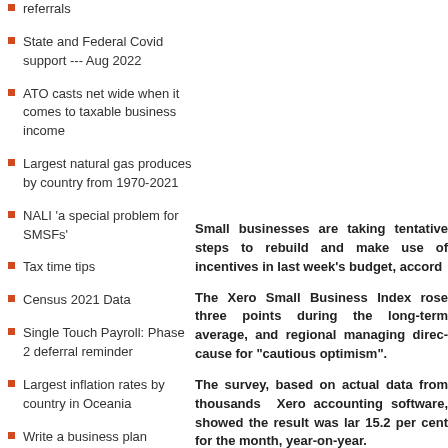referrals
State and Federal Covid support --- Aug 2022
ATO casts net wide when it comes to taxable business income
Largest natural gas produces by country from 1970-2021
NALI ‘a special problem for SMSFs’
Tax time tips
Census 2021 Data
Single Touch Payroll: Phase 2 deferral reminder
Largest inflation rates by country in Oceania
Write a business plan
Be wary of trust
Small businesses are taking tentative steps to rebuild and make use of incentives in last week’s budget, accord…
The Xero Small Business Index rose three points during the long-term average, and regional managing direc… cause for “cautious optimism”.
The survey, based on actual data from thousands of Xero accounting software, showed the result was lar… 15.2 per cent for the month, year-on-year.
The best performing sectors were administrative ser… hospitality, up 6.7 per cent.
That sales result compensated for weak jobs growt… increases (up 3.3 per cent) and an increase in the tim…
More than half of small businesses in the survey sa… levels of performance, but Mr Lyons said the challeng…
“[The] results are cause for cautious optimism tha… recovery,” he said.